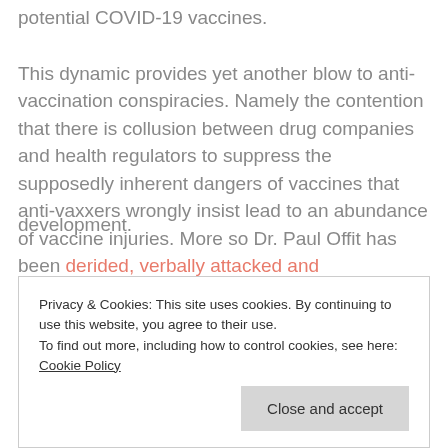potential COVID-19 vaccines.
This dynamic provides yet another blow to anti-vaccination conspiracies. Namely the contention that there is collusion between drug companies and health regulators to suppress the supposedly inherent dangers of vaccines that anti-vaxxers wrongly insist lead to an abundance of vaccine injuries. More so Dr. Paul Offit has been derided, verbally attacked and
development.
Privacy & Cookies: This site uses cookies. By continuing to use this website, you agree to their use.
To find out more, including how to control cookies, see here:
Cookie Policy
Close and accept